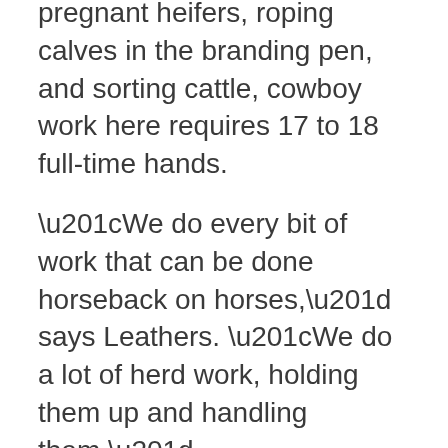pregnant heifers, roping calves in the branding pen, and sorting cattle, cowboy work here requires 17 to 18 full-time hands.
“We do every bit of work that can be done horseback on horses,” says Leathers. “We do a lot of herd work, holding them up and handling them.”
The cows calve in the fall, and the cowboys spend six weeks branding around Thanksgiving and Christmas, then wean in June. In 1982, Anne Marion hired veterinarian Glenn Blodgett to head up the ranch’s horse-breeding program. A decade later, their reproduction program was state-of-the-art